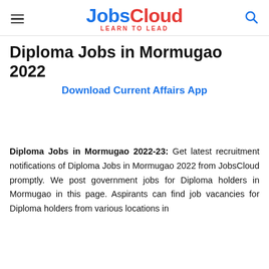JobsCloud LEARN TO LEAD
Diploma Jobs in Mormugao 2022
Download Current Affairs App
Diploma Jobs in Mormugao 2022-23: Get latest recruitment notifications of Diploma Jobs in Mormugao 2022 from JobsCloud promptly. We post government jobs for Diploma holders in Mormugao in this page. Aspirants can find job vacancies for Diploma holders from various locations in